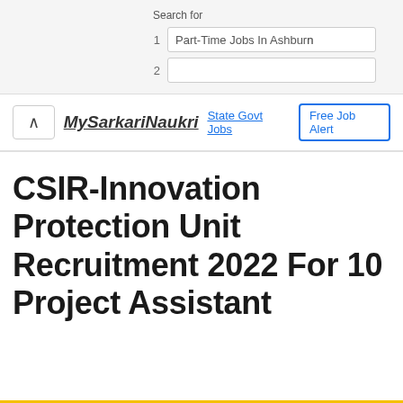Search for
1   Part-Time Jobs In Ashburn
2
MySarkariNaukri
State Govt Jobs   Free Job Alert
CSIR-Innovation Protection Unit Recruitment 2022 For 10 Project Assistant
Free Job Alerts   Enter your email